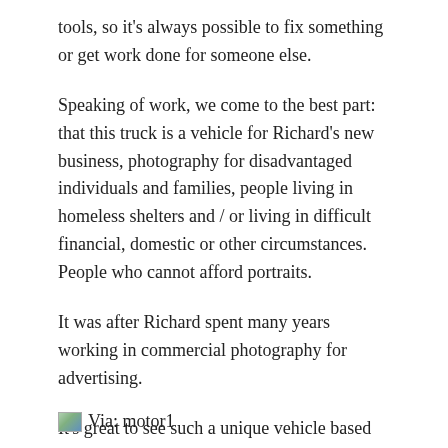tools, so it's always possible to fix something or get work done for someone else.
Speaking of work, we come to the best part: that this truck is a vehicle for Richard's new business, photography for disadvantaged individuals and families, people living in homeless shelters and / or living in difficult financial, domestic or other circumstances. People who cannot afford portraits.
It was after Richard spent many years working in commercial photography for advertising.
It's great to see such a unique vehicle based on an interesting and rarely seen truck – for more information you can check the website jackdaw.love for more details on Richard's wonderful business.
Via: motor1